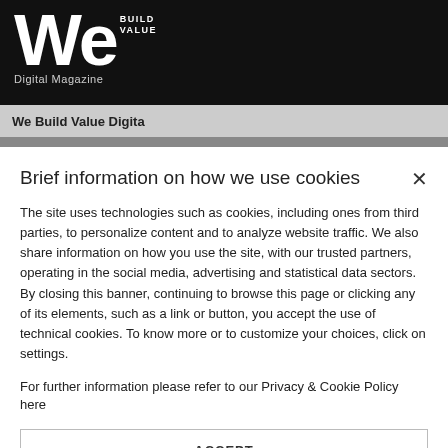[Figure (logo): We Build Value Digital Magazine logo — large white 'We' text with 'BUILD VALUE' superscript and 'Digital Magazine' subtitle on black background]
We Build Value Digital
Brief information on how we use cookies
The site uses technologies such as cookies, including ones from third parties, to personalize content and to analyze website traffic. We also share information on how you use the site, with our trusted partners, operating in the social media, advertising and statistical data sectors. By closing this banner, continuing to browse this page or clicking any of its elements, such as a link or button, you accept the use of technical cookies. To know more or to customize your choices, click on settings.
For further information please refer to our Privacy & Cookie Policy here
ACCEPT